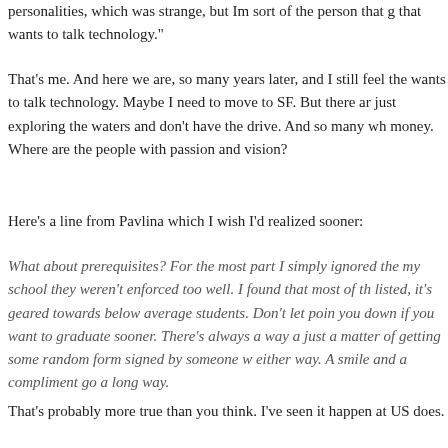personalities, which was strange, but Im sort of the person that g that wants to talk technology."
That's me. And here we are, so many years later, and I still feel the wants to talk technology. Maybe I need to move to SF. But there ar just exploring the waters and don't have the drive. And so many wh money. Where are the people with passion and vision?
Here's a line from Pavlina which I wish I'd realized sooner:
What about prerequisites?  For the most part I simply ignored the my school they weren't enforced too well.  I found that most of th listed, it's geared towards below average students.  Don't let poin you down if you want to graduate sooner.  There's always a way a just a matter of getting some random form signed by someone w either way.  A smile and a compliment go a long way.
That's probably more true than you think. I've seen it happen at US does.